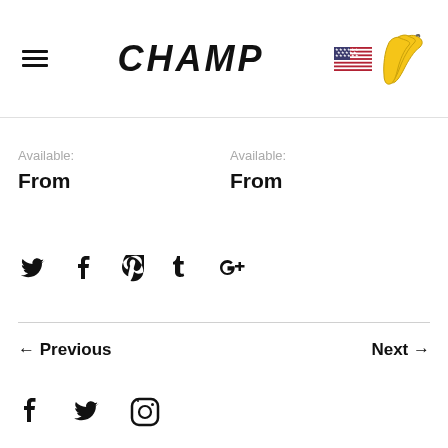CHAMP
Available: From
Available: From
[Figure (infographic): Social share icons: Twitter (bird), Facebook (f), Pinterest (P), Tumblr (t), Google+ (g+)]
← Previous    Next →
[Figure (infographic): Footer social icons: Facebook (f), Twitter (bird), Instagram (camera)]